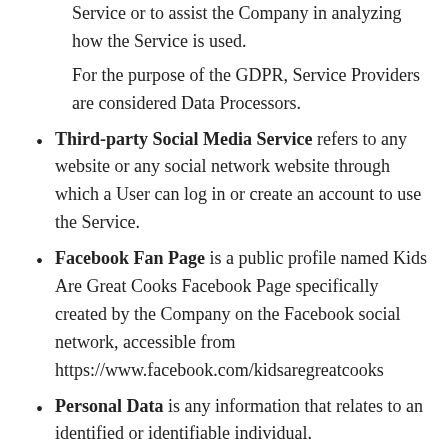Service or to assist the Company in analyzing how the Service is used.
For the purpose of the GDPR, Service Providers are considered Data Processors.
Third-party Social Media Service refers to any website or any social network website through which a User can log in or create an account to use the Service.
Facebook Fan Page is a public profile named Kids Are Great Cooks Facebook Page specifically created by the Company on the Facebook social network, accessible from https://www.facebook.com/kidsaregreatcooks
Personal Data is any information that relates to an identified or identifiable individual.
For the purposes for GDPR, Personal Data means any information relating to You such as a name, an identification number, location data, online identifier or to one or more factors specific to the physical, physiological, genetic,